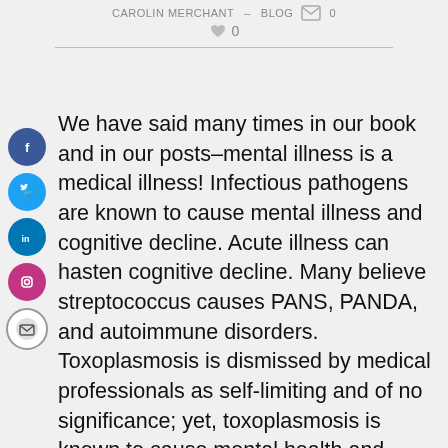CAROLIN MERCHANT   BLOG   0
0
We have said many times in our book and in our posts—mental illness is a medical illness! Infectious pathogens are known to cause mental illness and cognitive decline. Acute illness can hasten cognitive decline. Many believe streptococcus causes PANS, PANDA, and autoimmune disorders. Toxoplasmosis is dismissed by medical professionals as self-limiting and of no significance; yet, toxoplasmosis is known to cause mental health and autoimmune